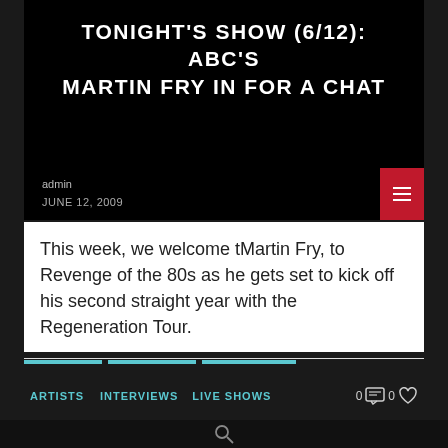TONIGHT'S SHOW (6/12): ABC'S MARTIN FRY IN FOR A CHAT
admin
JUNE 12, 2009
This week, we welcome tMartin Fry, to Revenge of the 80s as he gets set to kick off his second straight year with the Regeneration Tour.
ARTISTS   INTERVIEWS   LIVE SHOWS   0   0